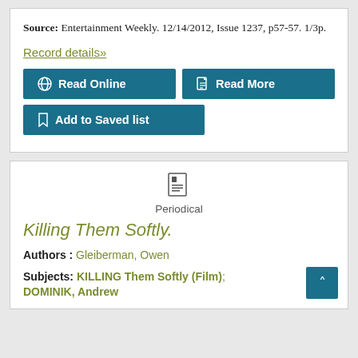Source: Entertainment Weekly. 12/14/2012, Issue 1237, p57-57. 1/3p.
Record details»
Read Online
Read More
Add to Saved list
Periodical
Killing Them Softly.
Authors : Gleiberman, Owen
Subjects: KILLING Them Softly (Film); DOMINIK, Andrew